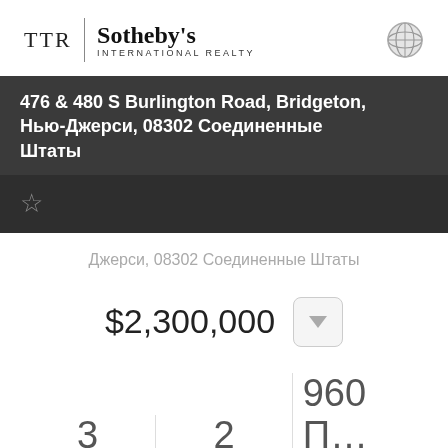TTR | Sotheby's INTERNATIONAL REALTY
476 & 480 S Burlington Road, Bridgeton, Нью-Джерси, 08302 Соединенные Штаты
Джерси, 08302 Соединенные Штаты
$2,300,000
3 СПАЛЬНИ
2 ПОЛН ВАНН
960 П... ЖИЛАЯ ПЛОЩАДЬ